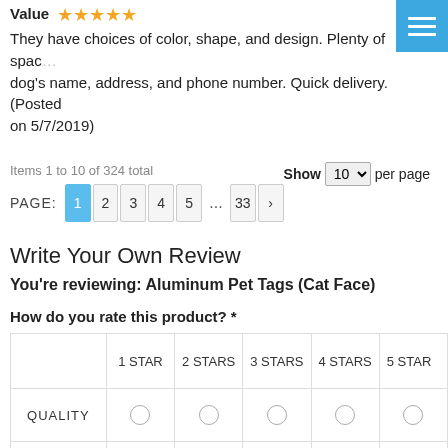Value ★★★★★ They have choices of color, shape, and design. Plenty of spac… dog's name, address, and phone number. Quick delivery. (Posted on 5/7/2019)
Items 1 to 10 of 324 total  Show 10 per page  PAGE: 1 2 3 4 5 ... 33 >
Write Your Own Review
You're reviewing: Aluminum Pet Tags (Cat Face)
How do you rate this product? *
|  | 1 STAR | 2 STARS | 3 STARS | 4 STARS | 5 STARS |
| --- | --- | --- | --- | --- | --- |
| QUALITY | ○ | ○ | ○ | ○ | ○ |
| VALUE | ○ | ○ | ○ | ○ | ○ |
| PRICE | ○ | ○ | ○ | ○ | ○ |